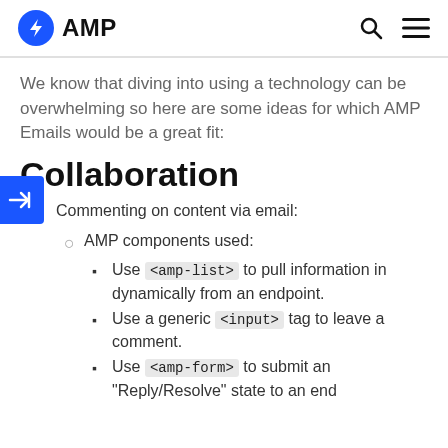AMP
We know that diving into using a technology can be overwhelming so here are some ideas for which AMP Emails would be a great fit:
Collaboration
Commenting on content via email:
AMP components used:
Use <amp-list> to pull information in dynamically from an endpoint.
Use a generic <input> tag to leave a comment.
Use <amp-form> to submit an "Reply/Resolve" state to an end